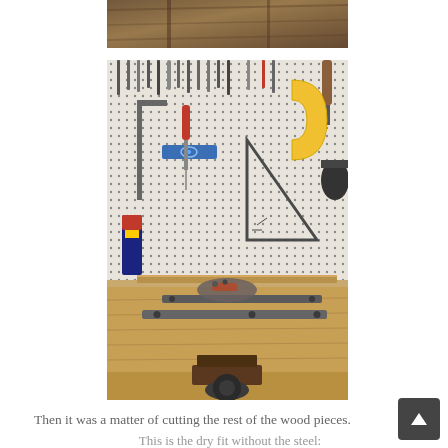[Figure (photo): Partial view of wooden ceiling or structural beams, cropped at top of page]
[Figure (photo): A woodworking workbench with a pegboard tool wall behind it. The pegboard holds various tools including screwdrivers, a speed square, a try square, a level, a protractor, and other hand tools. On the workbench surface are two flat steel bars/straps with holes, a sanding block, and a bench vise is visible at the front.]
Then it was a matter of cutting the rest of the wood pieces.
This is the dry fit without the steel: